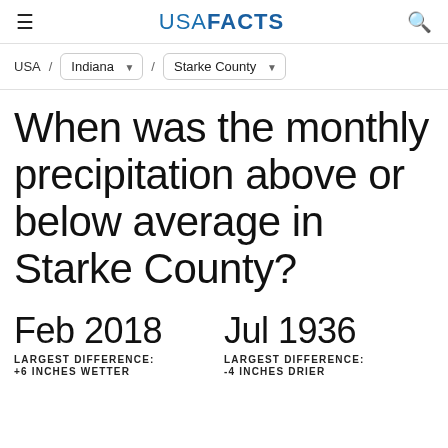USA FACTS
USA / Indiana / Starke County
When was the monthly precipitation above or below average in Starke County?
Feb 2018
LARGEST DIFFERENCE:
+6 INCHES WETTER
Jul 1936
LARGEST DIFFERENCE:
-4 INCHES DRIER